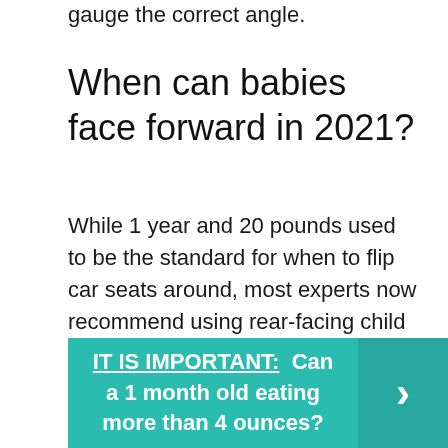gauge the correct angle.
When can babies face forward in 2021?
While 1 year and 20 pounds used to be the standard for when to flip car seats around, most experts now recommend using rear-facing child seats until children are 2 years old and reach the top weight and height recommendations of the car seat manufacturer, which is typically around 30 pounds and 36 inches.
IT IS IMPORTANT: Can a 1 month old eating more than 4 ounces?